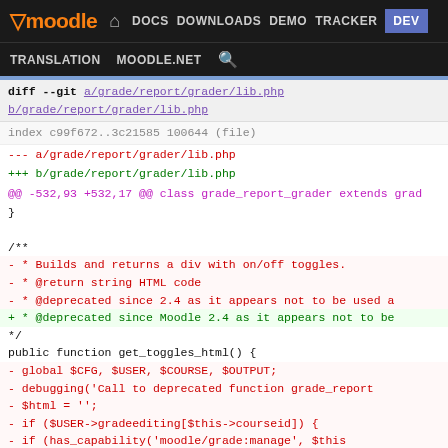moodle  DOCS  DOWNLOADS  DEMO  TRACKER  DEV  TRANSLATION  MOODLE.NET
[Figure (screenshot): Moodle navigation bar with logo and links: DOCS, DOWNLOADS, DEMO, TRACKER, DEV (highlighted in blue), TRANSLATION, MOODLE.NET, search icon]
diff --git a/grade/report/grader/lib.php b/grade/report/grader/lib.php
index c99f672..3c21585 100644 (file)
--- a/grade/report/grader/lib.php
+++ b/grade/report/grader/lib.php
@@ -532,93 +532,17 @@ class grade_report_grader extends grad
        }

        /**
-        * Builds and returns a div with on/off toggles.
-        * @return string HTML code
-        * @deprecated since 2.4 as it appears not to be used a
+        * @deprecated since Moodle 2.4 as it appears not to be
         */
        public function get_toggles_html() {
-               global $CFG, $USER, $COURSE, $OUTPUT;
-               debugging('Call to deprecated function grade_report
-               $html = '';
-               if ($USER->gradeediting[$this->courseid]) {
-                       if (has_capability('moodle/grade:manage', $this
-                               $html .= $this->print_toggle('eyecons');
-                       }
-                       if (has_capability('moodle/grade:manage', $this
-                       or has_capability('moodle/grade:lock', $this->
-                       or has_capability('moodle/grade:unlock', $this-